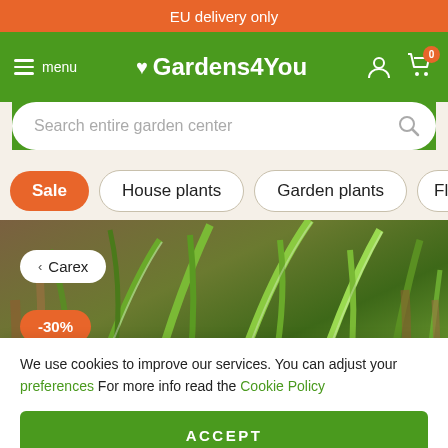EU delivery only
♥ Gardens4You
≡ menu
[Figure (screenshot): Search bar with placeholder text 'Search entire garden center' and a magnifying glass icon, on a green background.]
Sale
House plants
Garden plants
Flower bul
[Figure (photo): Close-up photo of green and variegated grass/sedge (Carex) plants with brown dried stems in the background. Overlaid badges: '< Carex', '-30%', 'Pot plant', '15-20cm'.]
We use cookies to improve our services. You can adjust your preferences For more info read the Cookie Policy
ACCEPT